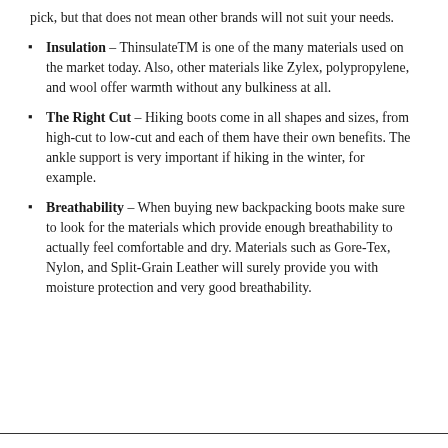pick, but that does not mean other brands will not suit your needs.
Insulation – ThinsulateTM is one of the many materials used on the market today. Also, other materials like Zylex, polypropylene, and wool offer warmth without any bulkiness at all.
The Right Cut – Hiking boots come in all shapes and sizes, from high-cut to low-cut and each of them have their own benefits. The ankle support is very important if hiking in the winter, for example.
Breathability – When buying new backpacking boots make sure to look for the materials which provide enough breathability to actually feel comfortable and dry. Materials such as Gore-Tex, Nylon, and Split-Grain Leather will surely provide you with moisture protection and very good breathability.